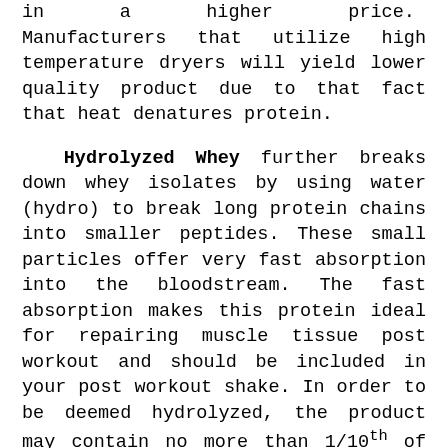in a higher price. Manufacturers that utilize high temperature dryers will yield lower quality product due to that fact that heat denatures protein.
Hydrolyzed Whey further breaks down whey isolates by using water (hydro) to break long protein chains into smaller peptides. These small particles offer very fast absorption into the bloodstream. The fast absorption makes this protein ideal for repairing muscle tissue post workout and should be included in your post workout shake. In order to be deemed hydrolyzed, the product may contain no more than 1/10th of 1% hyrolyzation. Due to the process and the yield, hydrolyzed whey is the most expensive of proteins.
Soy Protein is made from legumes and carries some benefits not provided by casein or whey. Soy may protect against cardiovascular disease and also prevent or relieve post menopausal symptoms in women. It